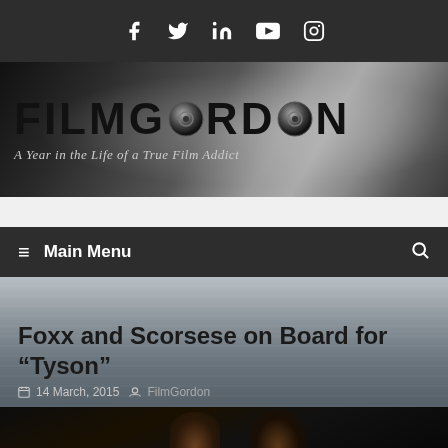Social media icons: Facebook, Twitter, LinkedIn, YouTube, Instagram
[Figure (logo): FilmGordon website banner logo with text 'FILMGORDON' and subtitle 'A Year in the Life of a True Film Addict' on a dark gradient background]
≡ Main Menu
Foxx and Scorsese on Board for "Tyson"
14 March, 2015  FilmGordon
[Figure (photo): Dark photo showing silhouettes or close-up of people, likely related to the Tyson article]